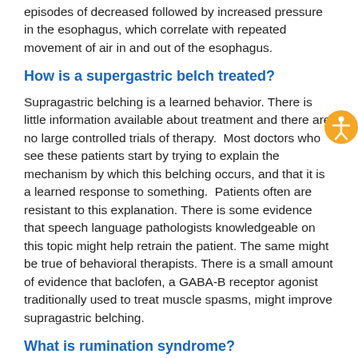episodes of decreased followed by increased pressure in the esophagus, which correlate with repeated movement of air in and out of the esophagus.
How is a supergastric belch treated?
Supragastric belching is a learned behavior. There is little information available about treatment and there are no large controlled trials of therapy.  Most doctors who see these patients start by trying to explain the mechanism by which this belching occurs, and that it is a learned response to something.  Patients often are resistant to this explanation. There is some evidence that speech language pathologists knowledgeable on this topic might help retrain the patient. The same might be true of behavioral therapists. There is a small amount of evidence that baclofen, a GABA-B receptor agonist traditionally used to treat muscle spasms, might improve supragastric belching.
What is rumination syndrome?
Rumination syndrome is defined by the Rome Criteria as